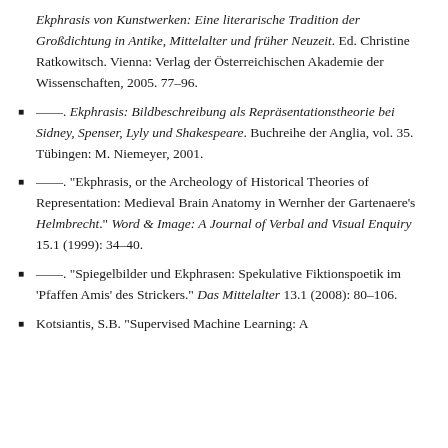(continuation) Ekphrasis von Kunstwerken: Eine literarische Tradition der Großdichtung in Antike, Mittelalter und früher Neuzeit. Ed. Christine Ratkowitsch. Vienna: Verlag der Österreichischen Akademie der Wissenschaften, 2005. 77–96.
——. Ekphrasis: Bildbeschreibung als Repräsentationstheorie bei Sidney, Spenser, Lyly und Shakespeare. Buchreihe der Anglia, vol. 35. Tübingen: M. Niemeyer, 2001.
——. "Ekphrasis, or the Archeology of Historical Theories of Representation: Medieval Brain Anatomy in Wernher der Gartenaere's Helmbrecht." Word & Image: A Journal of Verbal and Visual Enquiry 15.1 (1999): 34–40.
——. "Spiegelbilder und Ekphrasen: Spekulative Fiktionspoetik im 'Pfaffen Amis' des Strickers." Das Mittelalter 13.1 (2008): 80–106.
Kotsiantis, S.B. "Supervised Machine Learning: A...